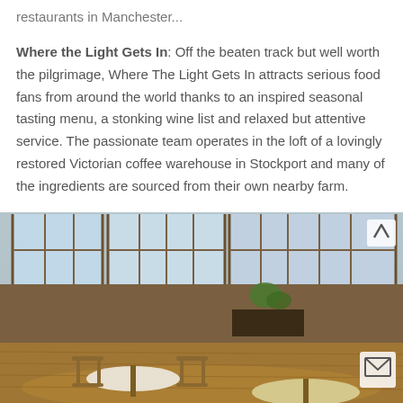restaurants in Manchester...
Where the Light Gets In: Off the beaten track but well worth the pilgrimage, Where The Light Gets In attracts serious food fans from around the world thanks to an inspired seasonal tasting menu, a stonking wine list and relaxed but attentive service. The passionate team operates in the loft of a lovingly restored Victorian coffee warehouse in Stockport and many of the ingredients are sourced from their own nearby farm.
[Figure (photo): Interior of Where the Light Gets In restaurant showing a sunlit loft space with large warehouse windows, exposed brick walls, wooden floors, round tables and wooden chairs.]